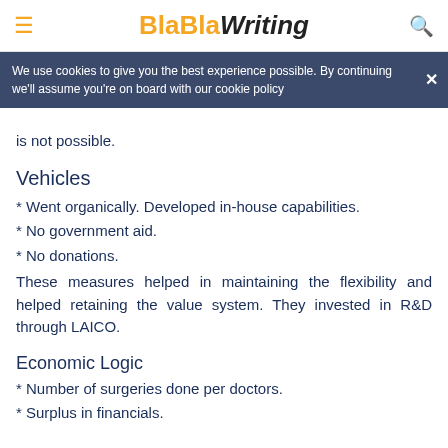BlaBlaWriting
We use cookies to give you the best experience possible. By continuing we'll assume you're on board with our cookie policy
is not possible.
Vehicles
* Went organically. Developed in-house capabilities.
* No government aid.
* No donations.
These measures helped in maintaining the flexibility and helped retaining the value system. They invested in R&D through LAICO.
Economic Logic
* Number of surgeries done per doctors.
* Surplus in financials.